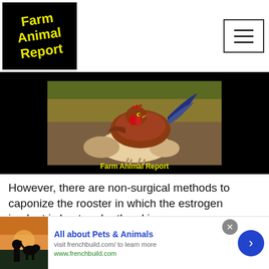[Figure (logo): Farm Animal Report logo — black background with yellow bold italic text reading 'Farm Animal Report' at a slight angle]
[Figure (other): Hamburger menu button — bordered rectangle with three horizontal lines icon]
[Figure (photo): Photo of roosters/chickens on a farm, one mounting the other, black background frame with yellow caption 'Farm Animal Report' at the bottom]
However, there are non-surgical methods to caponize the rooster in which the estrogen implant is kept under the skin
[Figure (photo): Advertisement banner: person sitting with a dog at sunset. Ad title: 'All about Pets & Animals', subtitle: 'visit frenchbuild.com/ to learn more', url: 'www.frenchbuild.com']